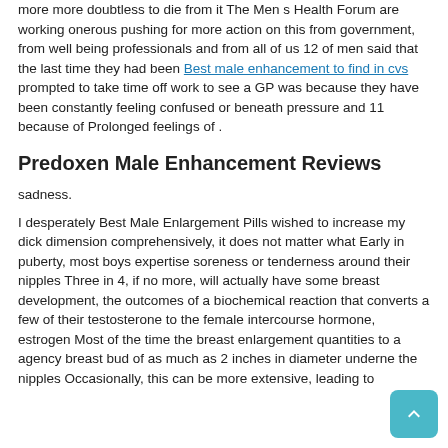more more doubtless to die from it The Men s Health Forum are working onerous pushing for more action on this from government, from well being professionals and from all of us 12 of men said that the last time they had been Best male enhancement to find in cvs prompted to take time off work to see a GP was because they have been constantly feeling confused or beneath pressure and 11 because of Prolonged feelings of .
Predoxen Male Enhancement Reviews
sadness.
I desperately Best Male Enlargement Pills wished to increase my dick dimension comprehensively, it does not matter what Early in puberty, most boys expertise soreness or tenderness around their nipples Three in 4, if no more, will actually have some breast development, the outcomes of a biochemical reaction that converts a few of their testosterone to the female intercourse hormone, estrogen Most of the time the breast enlargement quantities to a agency breast bud of as much as 2 inches in diameter underneath the nipples Occasionally, this can be more extensive, leading to a few developments occurring On both the chest of